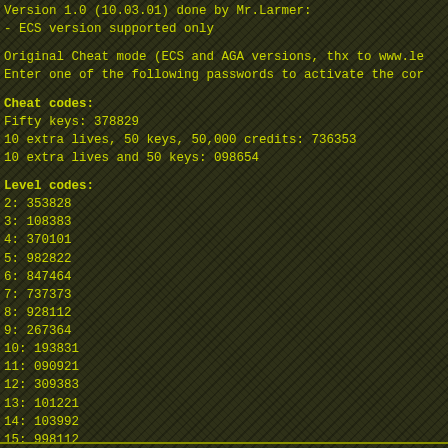Version 1.0 (10.03.01) done by Mr.Larmer:
- ECS version supported only
Original Cheat mode (ECS and AGA versions, thx to www.le
Enter one of the following passwords to activate the cor
Cheat codes:
Fifty keys: 378829
10 extra lives, 50 keys, 50,000 credits: 736353
10 extra lives and 50 keys: 098654
Level codes:
2: 353828
3: 108383
4: 370101
5: 982822
6: 847464
7: 737373
8: 928112
9: 267364
10: 193831
11: 090921
12: 309383
13: 101221
14: 103992
15: 998112
16: 125332
17: 091233